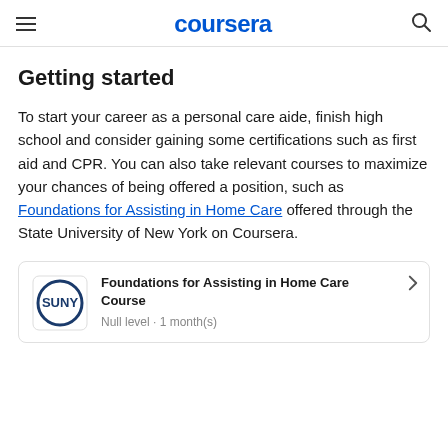coursera
Getting started
To start your career as a personal care aide, finish high school and consider gaining some certifications such as first aid and CPR. You can also take relevant courses to maximize your chances of being offered a position, such as Foundations for Assisting in Home Care offered through the State University of New York on Coursera.
[Figure (logo): SUNY logo — circle with SUNY text inside]
Foundations for Assisting in Home Care Course
Null level · 1 month(s)